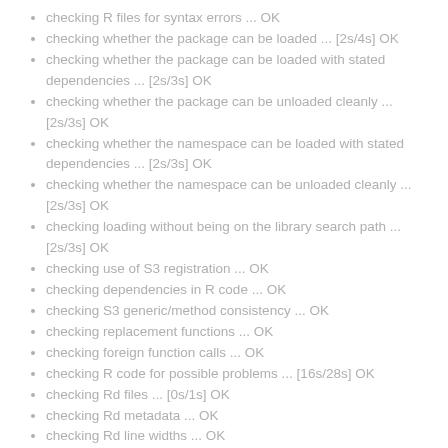checking R files for syntax errors ... OK
checking whether the package can be loaded ... [2s/4s] OK
checking whether the package can be loaded with stated dependencies ... [2s/3s] OK
checking whether the package can be unloaded cleanly ... [2s/3s] OK
checking whether the namespace can be loaded with stated dependencies ... [2s/3s] OK
checking whether the namespace can be unloaded cleanly ... [2s/3s] OK
checking loading without being on the library search path ... [2s/3s] OK
checking use of S3 registration ... OK
checking dependencies in R code ... OK
checking S3 generic/method consistency ... OK
checking replacement functions ... OK
checking foreign function calls ... OK
checking R code for possible problems ... [16s/28s] OK
checking Rd files ... [0s/1s] OK
checking Rd metadata ... OK
checking Rd line widths ... OK
checking Rd cross-references ... OK
checking for missing documentation entries ... OK
checking for code/documentation mismatches ... OK
checking Rd \usage sections ... OK